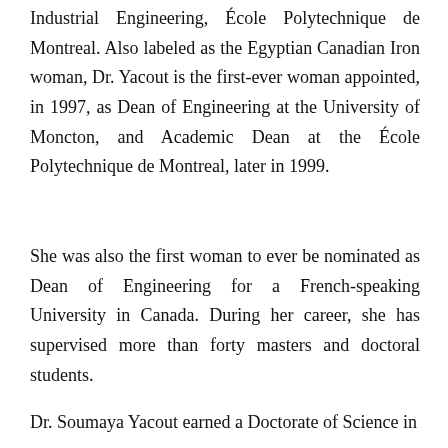Industrial Engineering, École Polytechnique de Montreal. Also labeled as the Egyptian Canadian Iron woman, Dr. Yacout is the first-ever woman appointed, in 1997, as Dean of Engineering at the University of Moncton, and Academic Dean at the École Polytechnique de Montreal, later in 1999.
She was also the first woman to ever be nominated as Dean of Engineering for a French-speaking University in Canada. During her career, she has supervised more than forty masters and doctoral students.
Dr. Soumaya Yacout earned a Doctorate of Science in